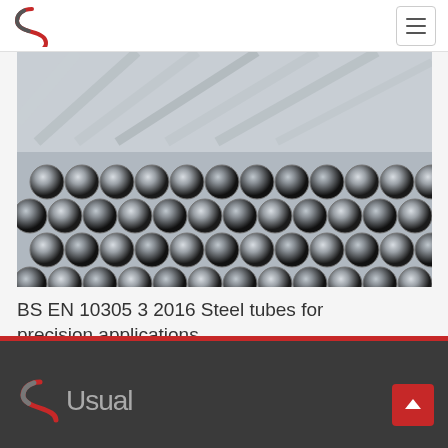SUsual logo and navigation menu
[Figure (photo): Stacked metallic steel tubes/pipes viewed from the end, showing circular hollow cross-sections arranged in rows, silver/grey colored with dark interiors]
BS EN 10305 3 2016 Steel tubes for precision applications
SUsual footer with logo and scroll-to-top button